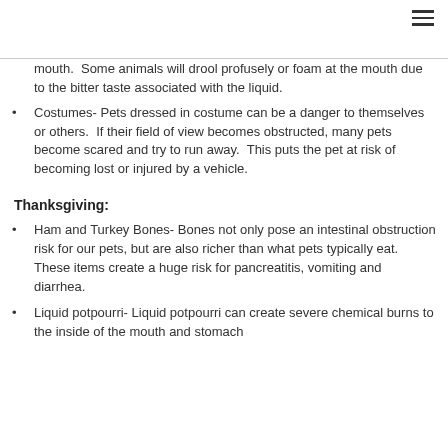mouth.  Some animals will drool profusely or foam at the mouth due to the bitter taste associated with the liquid.
Costumes- Pets dressed in costume can be a danger to themselves or others.  If their field of view becomes obstructed, many pets become scared and try to run away.  This puts the pet at risk of becoming lost or injured by a vehicle.
Thanksgiving:
Ham and Turkey Bones- Bones not only pose an intestinal obstruction risk for our pets, but are also richer than what pets typically eat.  These items create a huge risk for pancreatitis, vomiting and diarrhea.
Liquid potpourri- Liquid potpourri can create severe chemical burns to the inside of the mouth and stomach